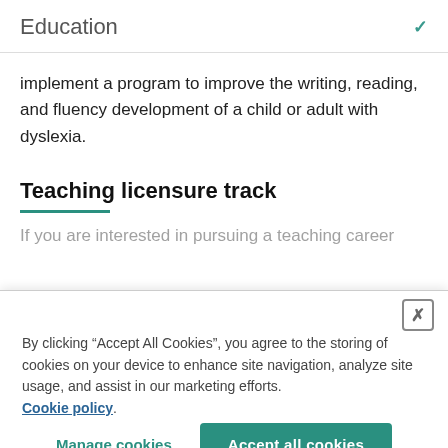Education
implement a program to improve the writing, reading, and fluency development of a child or adult with dyslexia.
Teaching licensure track
If you are interested in pursuing a teaching career
By clicking “Accept All Cookies”, you agree to the storing of cookies on your device to enhance site navigation, analyze site usage, and assist in our marketing efforts. Cookie policy
Manage cookies
Accept all cookies
Reading specialist certificate